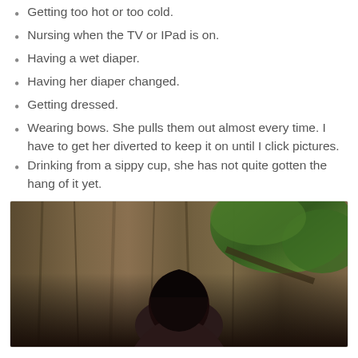Getting too hot or too cold.
Nursing when the TV or IPad is on.
Having a wet diaper.
Having her diaper changed.
Getting dressed.
Wearing bows. She pulls them out almost every time. I have to get her diverted to keep it on until I click pictures.
Drinking from a sippy cup, she has not quite gotten the hang of it yet.
[Figure (photo): A woman with dark hair sitting outdoors in front of a large tree with visible bark texture, with green foliage visible in the upper right. She appears to be holding a baby or small child.]